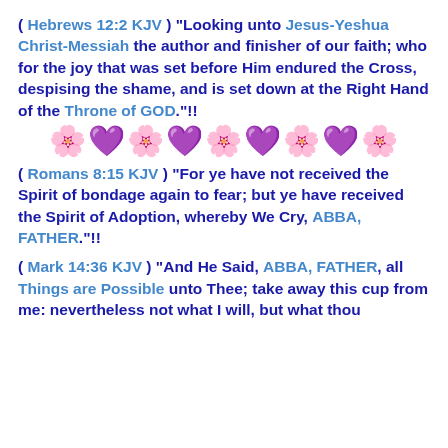( Hebrews 12:2 KJV ) "Looking unto Jesus-Yeshua Christ-Messiah the author and finisher of our faith; who for the joy that was set before Him endured the Cross, despising the shame, and is set down at the Right Hand of the Throne of GOD."!!
[Figure (illustration): A decorative row of pink and purple flower emoji/clipart]
( Romans 8:15 KJV ) "For ye have not received the Spirit of bondage again to fear; but ye have received the Spirit of Adoption, whereby We Cry, ABBA, FATHER."!!
( Mark 14:36 KJV ) "And He Said, ABBA, FATHER, all Things are Possible unto Thee; take away this cup from me: nevertheless not what I will, but what thou